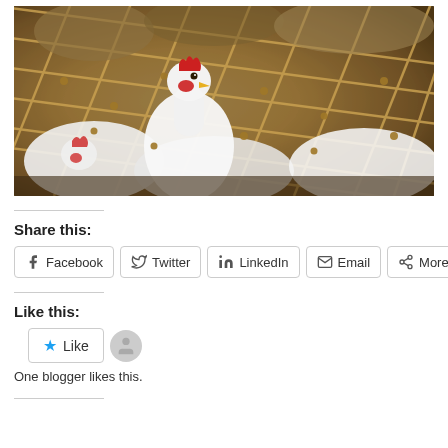[Figure (photo): Photograph of white chickens in a net/rope enclosure at a market or farm, one chicken prominently facing the camera with red comb, surrounded by rope netting and other birds in background]
Share this:
Facebook  Twitter  LinkedIn  Email  More
Like this:
Like
One blogger likes this.